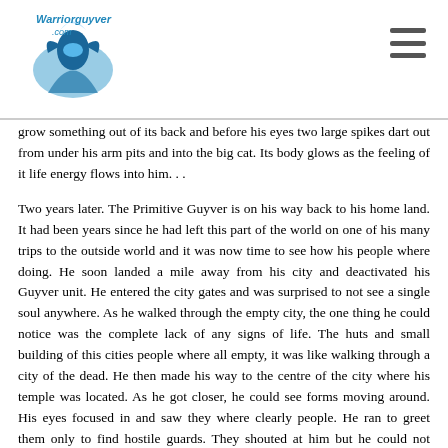Warriorguyver.com
grow something out of its back and before his eyes two large spikes dart out from under his arm pits and into the big cat. Its body glows as the feeling of it life energy flows into him. . .
Two years later. The Primitive Guyver is on his way back to his home land. It had been years since he had left this part of the world on one of his many trips to the outside world and it was now time to see how his people where doing. He soon landed a mile away from his city and deactivated his Guyver unit. He entered the city gates and was surprised to not see a single soul anywhere. As he walked through the empty city, the one thing he could notice was the complete lack of any signs of life. The huts and small building of this cities people where all empty, it was like walking through a city of the dead. He then made his way to the centre of the city where his temple was located. As he got closer, he could see forms moving around. His eyes focused in and saw they where clearly people. He ran to greet them only to find hostile guards. They shouted at him but he could not understand their language. One of them grabbed him and dragged him into the temple.